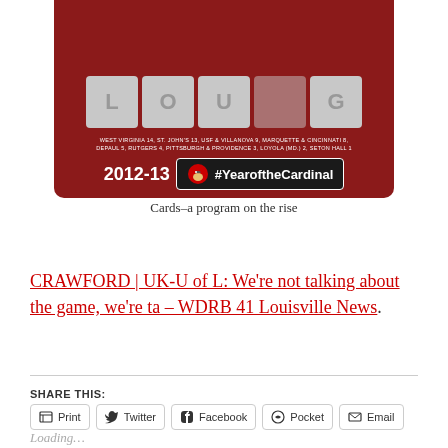[Figure (photo): Louisville Cardinals basketball promotional graphic showing 2012-13 season with tiles spelling 'LOU' and 'G', text listing conference opponents with win totals (West Virginia 14, St. John's 13, USF & Villanova 9, Marquette & Cincinnati 8, DePaul 5, Rutgers 4, Pittsburgh & Providence 3, Loyola (MD.) 2, Seton Hall 1), and a '#YearoftheCardinal' hashtag badge with cardinal bird logo on dark background.]
Cards–a program on the rise
CRAWFORD | UK-U of L: We're not talking about the game, we're ta – WDRB 41 Louisville News.
SHARE THIS:
Print  Twitter  Facebook  Pocket  Email
Loading…